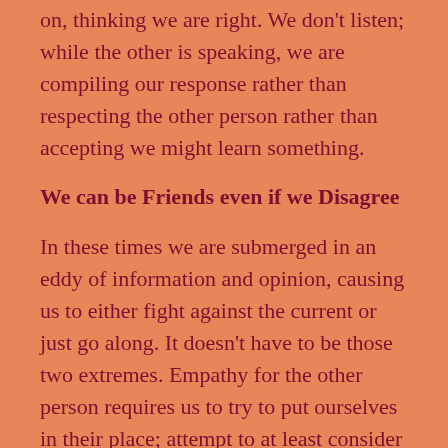on, thinking we are right. We don't listen; while the other is speaking, we are compiling our response rather than respecting the other person rather than accepting we might learn something.
We can be Friends even if we Disagree
In these times we are submerged in an eddy of information and opinion, causing us to either fight against the current or just go along. It doesn't have to be those two extremes. Empathy for the other person requires us to try to put ourselves in their place; attempt to at least consider their point of view based upon who they are. That's one way to love our